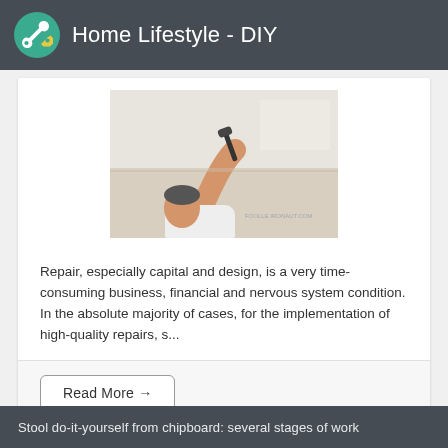Home Lifestyle - DIY
[Figure (photo): A man painting or repairing a ceiling, reaching up with a roller or tool]
Repair, especially capital and design, is a very time-consuming business, financial and nervous system condition. In the absolute majority of cases, for the implementation of high-quality repairs, s...
Read More →
Stool do-it-yourself from chipboard: several stages of work